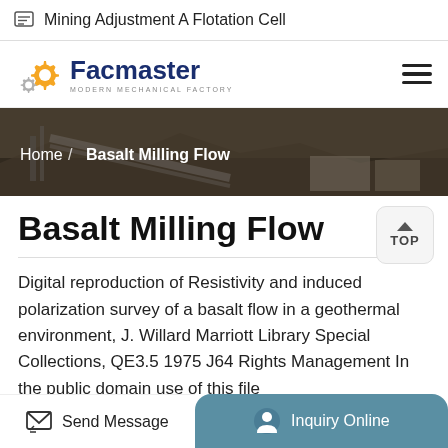Mining Adjustment A Flotation Cell
[Figure (logo): Facmaster Modern Mechanical Factory logo with gear icon]
[Figure (photo): Industrial mining facility hero banner image showing conveyor belts and structures]
Home / Basalt Milling Flow
Basalt Milling Flow
Digital reproduction of Resistivity and induced polarization survey of a basalt flow in a geothermal environment, J. Willard Marriott Library Special Collections, QE3.5 1975 J64 Rights Management In the public domain use of this file
Send Message   Inquiry Online